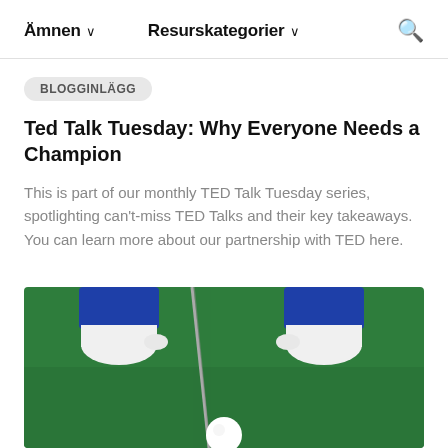Ämnen ∨   Resurskategorier ∨   🔍
BLOGGINLÄGG
Ted Talk Tuesday: Why Everyone Needs a Champion
This is part of our monthly TED Talk Tuesday series, spotlighting can't-miss TED Talks and their key takeaways. You can learn more about our partnership with TED here.
[Figure (photo): Close-up photo of a person's feet in blue and white golf shoes standing on a green golf course, with a golf club and golf ball visible]